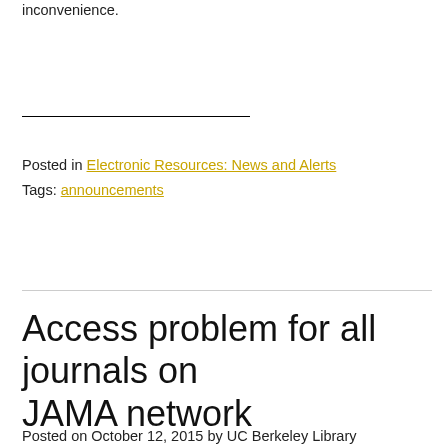inconvenience.
Posted in Electronic Resources: News and Alerts
Tags: announcements
Access problem for all journals on JAMA network
Posted on October 12, 2015 by UC Berkeley Library